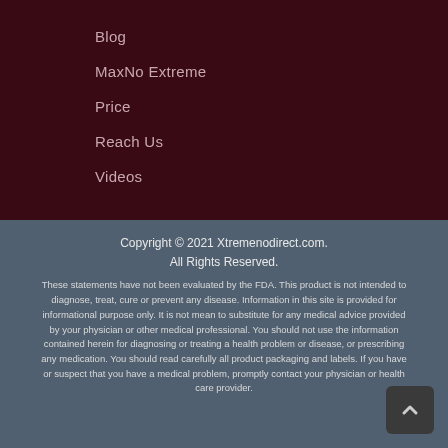Blog
MaxNo Extreme
Price
Reach Us
Videos
Copyright © 2021 Xtremenodirect.com. All Rights Reserved.
These statements have not been evaluated by the FDA. This product is not intended to diagnose, treat, cure or prevent any disease. Information in this site is provided for informational purpose only. It is not mean to substitute for any medical advice provided by your physician or other medical professional. You should not use the information contained herein for diagnosing or treating a health problem or disease, or prescribing any medication. You should read carefully all product packaging and labels. If you have or suspect that you have a medical problem, promptly contact your physician or health care provider.